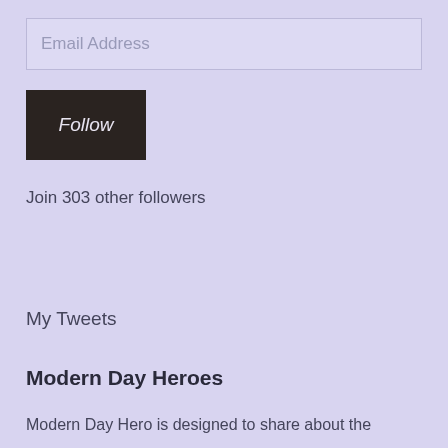Email Address
Follow
Join 303 other followers
My Tweets
Modern Day Heroes
Modern Day Hero is designed to share about the